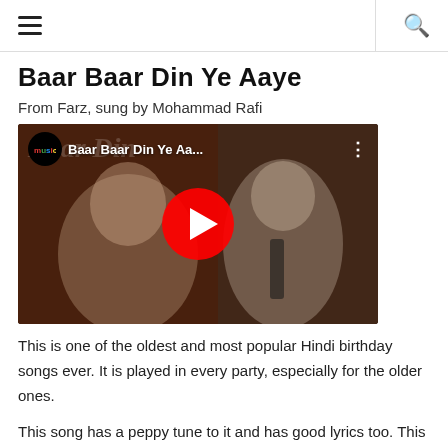☰  🔍
Baar Baar Din Ye Aaye
From Farz, sung by Mohammad Rafi
[Figure (screenshot): YouTube video thumbnail showing a couple from a Bollywood film. Title reads 'Baar Baar Din Ye Aa...' with musicbox logo. Red play button in center.]
This is one of the oldest and most popular Hindi birthday songs ever. It is played in every party, especially for the older ones.
This song has a peppy tune to it and has good lyrics too. This is what makes it a regular Hindi